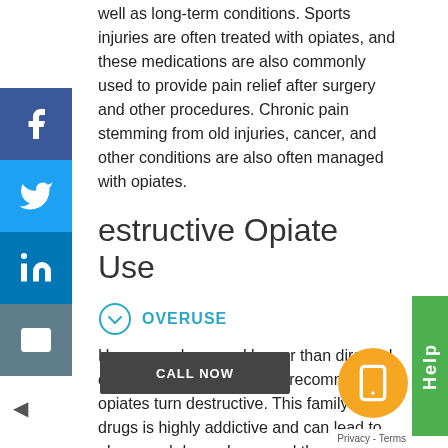well as long-term conditions. Sports injuries are often treated with opiates, and these medications are also commonly used to provide pain relief after surgery and other procedures. Chronic pain stemming from old injuries, cancer, and other conditions are also often managed with opiates.
estructive Opiate Use
OVERUSE
However, when used longer than directed or in greater dosages than recommended, opiates turn destructive. This family of drugs is highly addictive and can lead to abuse and dependence and the side effects that come with it. The danger with prescription painkillers comes when people start self-medicating.